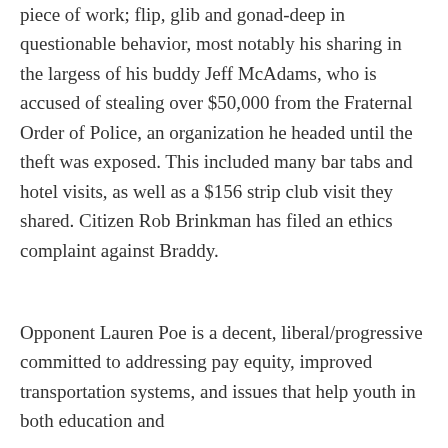piece of work; flip, glib and gonad-deep in questionable behavior, most notably his sharing in the largess of his buddy Jeff McAdams, who is accused of stealing over $50,000 from the Fraternal Order of Police, an organization he headed until the theft was exposed. This included many bar tabs and hotel visits, as well as a $156 strip club visit they shared. Citizen Rob Brinkman has filed an ethics complaint against Braddy.
Opponent Lauren Poe is a decent, liberal/progressive committed to addressing pay equity, improved transportation systems, and issues that help youth in both education and